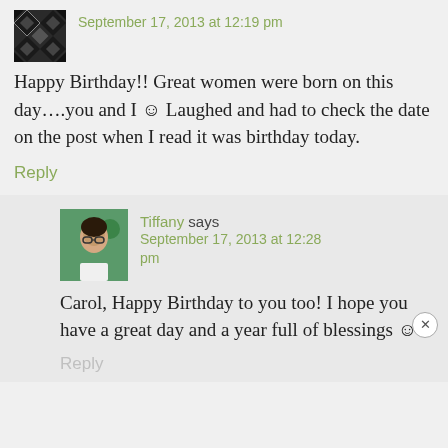September 17, 2013 at 12:19 pm
Happy Birthday!! Great women were born on this day….you and I 🙂 Laughed and had to check the date on the post when I read it was birthday today.
Reply
Tiffany says
September 17, 2013 at 12:28 pm
Carol, Happy Birthday to you too! I hope you have a great day and a year full of blessings 🙂
Reply